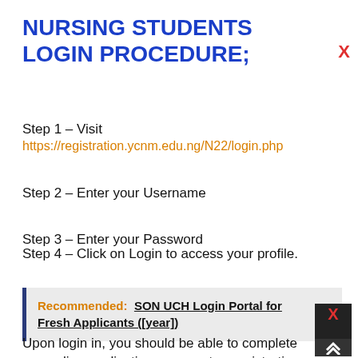NURSING STUDENTS LOGIN PROCEDURE;
Step 1 – Visit https://registration.ycnm.edu.ng/N22/login.php
Step 2 – Enter your Username
Step 3 – Enter your Password
Step 4 – Click on Login to access your profile.
Recommended: SON UCH Login Portal for Fresh Applicants ([year])
Upon login in, you should be able to complete any online application, payment or registration